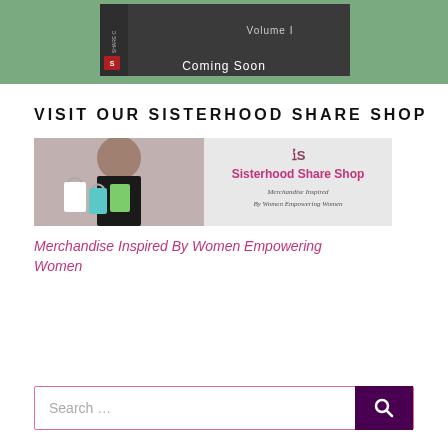[Figure (photo): Top banner showing a dark book/box on a green background with 'Volume I' text and 'Coming Soon' caption]
VISIT OUR SISTERHOOD SHARE SHOP
[Figure (photo): Sisterhood Share Shop banner image: woman with shopping bags on left, shop logo and tagline on right]
Merchandise Inspired By Women Empowering Women